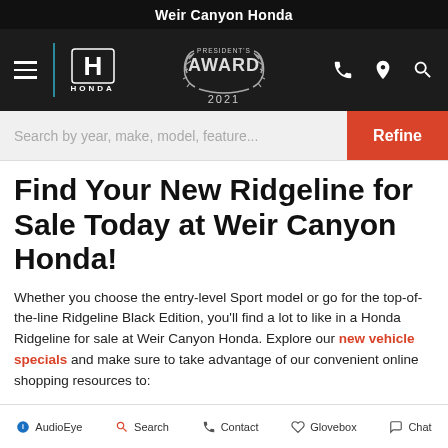Weir Canyon Honda
[Figure (logo): Navigation bar with hamburger menu, Honda logo, Presidents Award 2021 badge, phone icon, location icon, and search icon on dark background]
Search by year, make, model, feature...
Find Your New Ridgeline for Sale Today at Weir Canyon Honda!
Whether you choose the entry-level Sport model or go for the top-of-the-line Ridgeline Black Edition, you'll find a lot to like in a Honda Ridgeline for sale at Weir Canyon Honda. Explore our new vehicle specials and make sure to take advantage of our convenient online shopping resources to:
Get pre-approved for a low-interest loan
AudioEye  Search  Contact  Glovebox  Chat